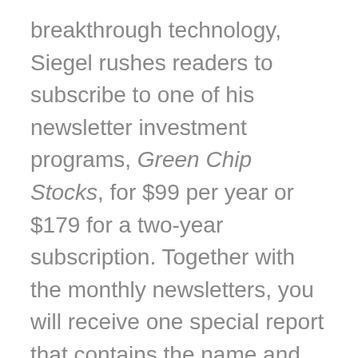breakthrough technology, Siegel rushes readers to subscribe to one of his newsletter investment programs, Green Chip Stocks, for $99 per year or $179 for a two-year subscription. Together with the monthly newsletters, you will receive one special report that contains the name and the ticker symbol of the stock Siegel teases here. You will also get three additional bonus reports, private deals, weekly updates, research tips, as well as direct support. For those who don't want to pay up for the newsletter, here is